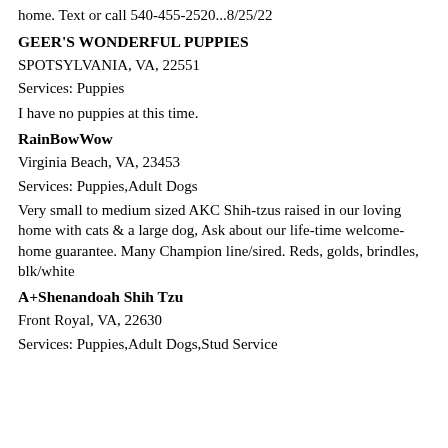home. Text or call 540-455-2520...8/25/22
GEER'S WONDERFUL PUPPIES
SPOTSYLVANIA, VA, 22551
Services: Puppies
I have no puppies at this time.
RainBowWow
Virginia Beach, VA, 23453
Services: Puppies,Adult Dogs
Very small to medium sized AKC Shih-tzus raised in our loving home with cats & a large dog, Ask about our life-time welcome-home guarantee. Many Champion line/sired. Reds, golds, brindles, blk/white
A+Shenandoah Shih Tzu
Front Royal, VA, 22630
Services: Puppies,Adult Dogs,Stud Service